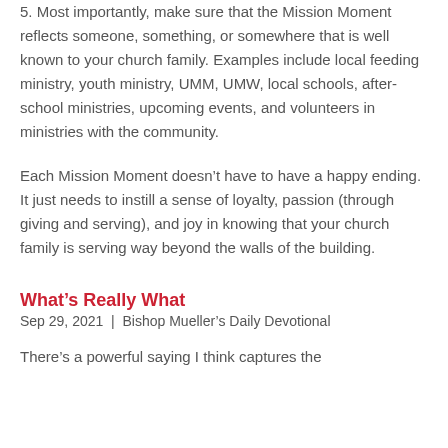5. Most importantly, make sure that the Mission Moment reflects someone, something, or somewhere that is well known to your church family. Examples include local feeding ministry, youth ministry, UMM, UMW, local schools, after-school ministries, upcoming events, and volunteers in ministries with the community.
Each Mission Moment doesn’t have to have a happy ending. It just needs to instill a sense of loyalty, passion (through giving and serving), and joy in knowing that your church family is serving way beyond the walls of the building.
What’s Really What
Sep 29, 2021 | Bishop Mueller’s Daily Devotional
There’s a powerful saying I think captures the